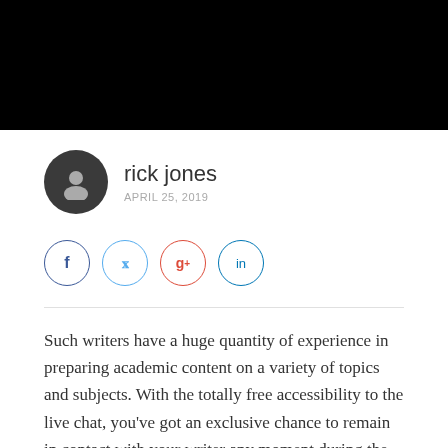[Figure (illustration): Black header bar at top of page]
rick jones
APRIL 25, 2019
[Figure (infographic): Social media share icons: Facebook, Twitter, Google+, LinkedIn — circular outlined buttons]
Such writers have a huge quantity of experience in preparing academic content on a variety of topics and subjects. With the totally free accessibility to the live chat, you've got an exclusive chance to remain in contact with your writer any moment during the procedure. As a consequence, you have the expertise of a number of the best writers in the region.